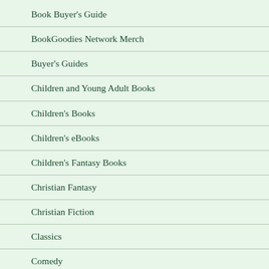Book Buyer's Guide
BookGoodies Network Merch
Buyer's Guides
Children and Young Adult Books
Children's Books
Children's eBooks
Children's Fantasy Books
Christian Fantasy
Christian Fiction
Classics
Comedy